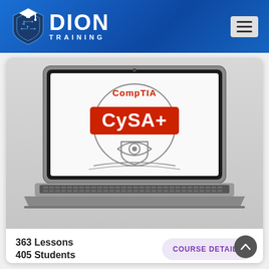[Figure (logo): Dion Training logo with shield and graduation cap icon, white text on blue gradient header background]
[Figure (screenshot): Laptop computer displaying CompTIA CySA+ certification badge logo on screen. Red banner with white CySA+ text and circular badge outline with shield/eye icon.]
363 Lessons
405 Students
COURSE DETAILS